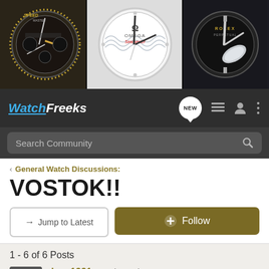[Figure (photo): Banner with three close-up photos of luxury watches including Speedmaster, Omega Seamaster, and Rolex]
[Figure (logo): WatchFreeks forum logo in blue and white italic text]
Search Community
< General Watch Discussions:
VOSTOK!!
→ Jump to Latest
+ Follow
1 - 6 of 6 Posts
dane1991 · Registered
Joined Jan 8, 2010 · 4,012 Posts